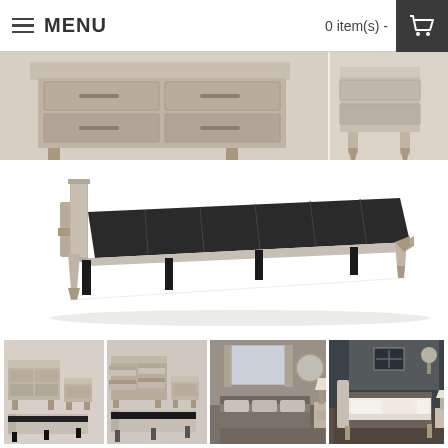MENU   0 item(s) -
[Figure (photo): Top portion of a wooden bedroom dresser/headboard in gray-washed wood finish, showing two views: front view of dresser with drawers, and side view]
[Figure (photo): Main product image: a gray-washed wood platform bed frame with tapered legs, shown without mattress, angled perspective view]
[Figure (photo): Thumbnail 1: Bedroom set with dresser and nightstand plus bed frame in gray wood]
[Figure (photo): Thumbnail 2: Bedroom set with open dresser drawers and nightstand plus low bed frame]
[Figure (photo): Thumbnail 3: Styled bedroom scene with gray bedding and wood furniture]
[Figure (photo): Thumbnail 4: Dark-walled bedroom scene with white bedding on platform bed]